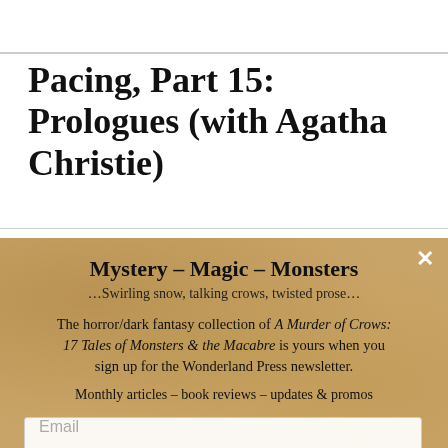Pacing, Part 15: Prologues (with Agatha Christie)
Mystery - Magic - Monsters
...Swirling snow, talking crows, twisted prose...

The horror/dark fantasy collection of A Murder of Crows: 17 Tales of Monsters & the Macabre is yours when you sign up for the Wonderland Press newsletter.

Monthly articles - book reviews - updates & promos
Email
SUBSCRIBE